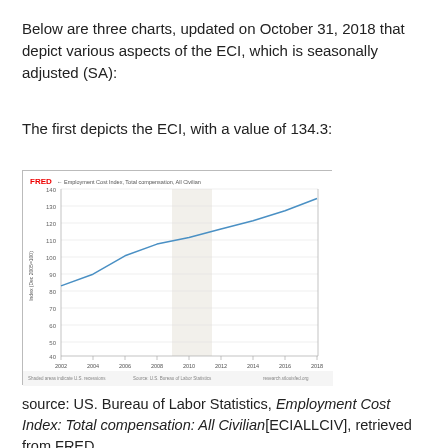Below are three charts, updated on October 31, 2018 that depict various aspects of the ECI, which is seasonally adjusted (SA):
The first depicts the ECI, with a value of 134.3:
[Figure (line-chart): FRED line chart showing ECI rising steadily from ~82 in 2002 to 134.3 in 2018, with a shaded recession band around 2008-2009.]
source: US. Bureau of Labor Statistics, Employment Cost Index: Total compensation: All Civilian[ECIALLCIV], retrieved from FRED, Federal Reserve Bank of St. Louis; accessed October 31, 2018.